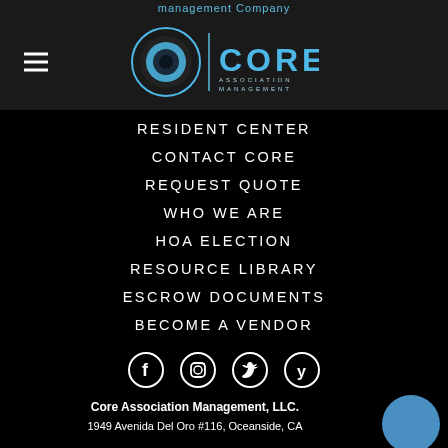management Company
[Figure (logo): Core Association Management logo with circular icon and text]
RESIDENT CENTER
CONTACT CORE
REQUEST QUOTE
WHO WE ARE
HOA ELECTION
RESOURCE LIBRARY
ESCROW DOCUMENTS
BECOME A VENDOR
[Figure (illustration): Social media icons: Facebook, Instagram, Twitter, Yelp]
Core Association Management, LLC.
1949 Avenida Del Oro #116, Oceanside, CA 92056